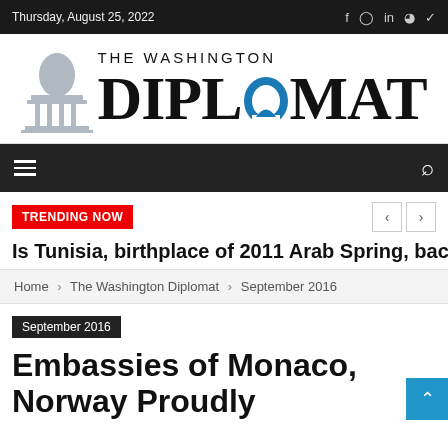Thursday, August 25, 2022
[Figure (logo): The Washington Diplomat logo with Capitol building silhouette and blue arch on letter O]
TRENDING NOW
Is Tunisia, birthplace of 2011 Arab Spring, backslidin
Home › The Washington Diplomat › September 2016
September 2016
Embassies of Monaco, Norway Proudly